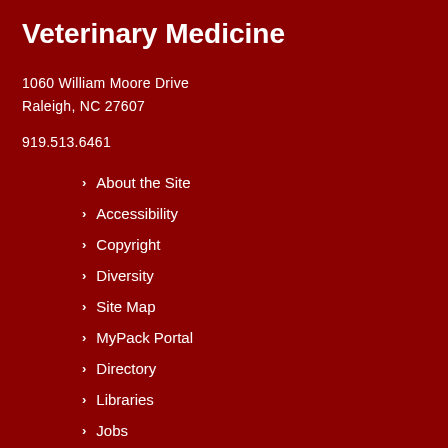Veterinary Medicine
1060 William Moore Drive
Raleigh, NC 27607
919.513.6461
About the Site
Accessibility
Copyright
Diversity
Site Map
MyPack Portal
Directory
Libraries
Jobs